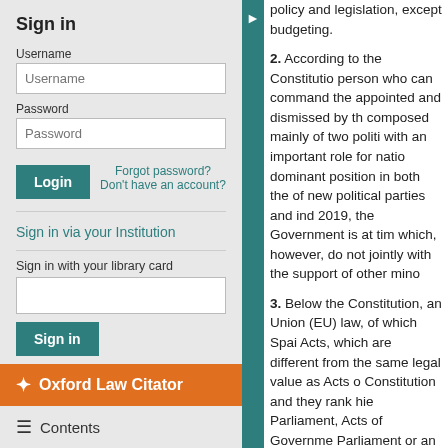Sign in
Username
Password
Forgot password? Don't have an account?
Sign in via your Institution
Sign in with your library card
Oxford Law Citator
Contents
Expand All [+] | Collapse All [-]
Sign up for alerts
policy and legislation, except budgeting.

2. According to the Constitution, person who can command the appointed and dismissed by the composed mainly of two politi with an important role for natio dominant position in both the of new political parties and ind 2019, the Government is at tim which, however, do not jointly with the support of other mino

3. Below the Constitution, an Union (EU) law, of which Spai Acts, which are different from the same legal value as Acts o Constitution and they rank hie Parliament, Acts of Governme Parliament or an occurrence o Therefore, the executive has t (either parliamentary or gover (SCC), which is not part of the